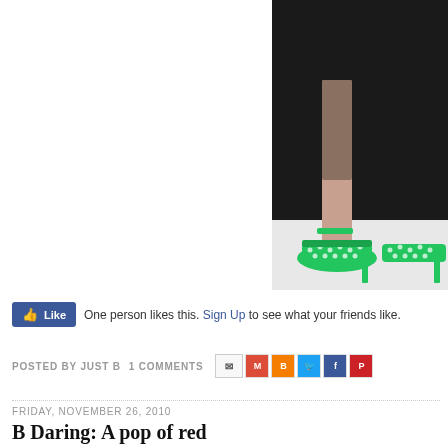[Figure (photo): Fashion photo showing a woman's legs wearing bright green polka-dot high heel sandals against a black background]
Like   One person likes this. Sign Up to see what your friends like.
POSTED BY JUST B   1 COMMENTS
FRIDAY, NOVEMBER 26, 2010
B Daring: A pop of red
On this black Friday forget the absence of color and wear a pop of red